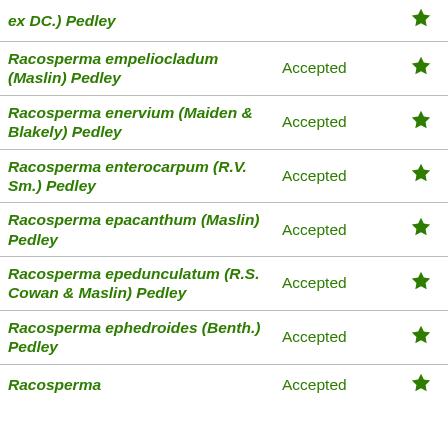| Name | Status |  |
| --- | --- | --- |
| ex DC.) Pedley | Accepted | ★ |
| Racosperma empeliocladum (Maslin) Pedley | Accepted | ★ |
| Racosperma enervium (Maiden & Blakely) Pedley | Accepted | ★ |
| Racosperma enterocarpum (R.V. Sm.) Pedley | Accepted | ★ |
| Racosperma epacanthum (Maslin) Pedley | Accepted | ★ |
| Racosperma epedunculatum (R.S. Cowan & Maslin) Pedley | Accepted | ★ |
| Racosperma ephedroides (Benth.) Pedley | Accepted | ★ |
| Racosperma (C.R.P... | Accepted | ★ |